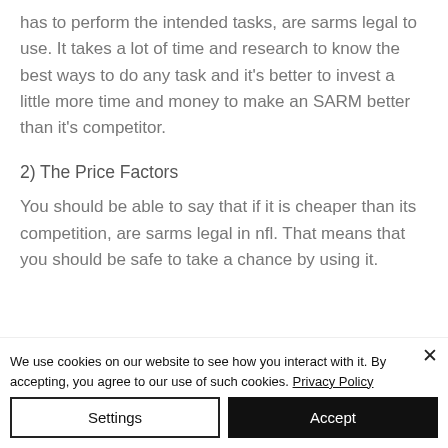has to perform the intended tasks, are sarms legal to use. It takes a lot of time and research to know the best ways to do any task and it's better to invest a little more time and money to make an SARM better than it's competitor.
2) The Price Factors
You should be able to say that if it is cheaper than its competition, are sarms legal in nfl. That means that you should be safe to take a chance by using it.
We use cookies on our website to see how you interact with it. By accepting, you agree to our use of such cookies. Privacy Policy